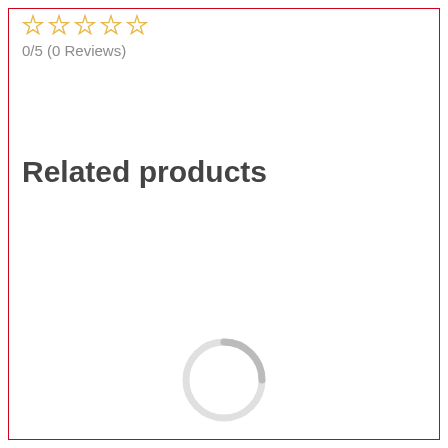[Figure (other): Five outlined star icons in gold/yellow color indicating a rating widget]
0/5 (0 Reviews)
Related products
[Figure (other): A circular loading spinner icon in light gray indicating content is loading]